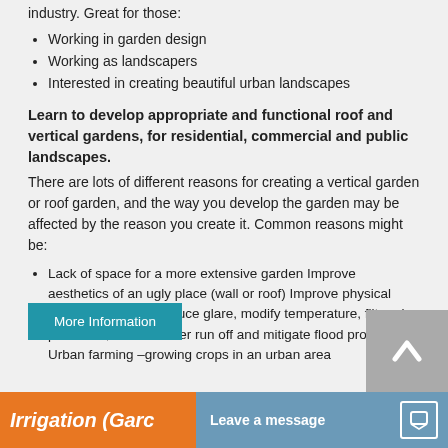industry. Great for those:
Working in garden design
Working as landscapers
Interested in creating beautiful urban landscapes
Learn to develop appropriate and functional roof and vertical gardens, for residential, commercial and public landscapes. There are lots of different reasons for creating a vertical garden or roof garden, and the way you develop the garden may be affected by the reason you create it. Common reasons might be:
Lack of space for a more extensive garden Improve aesthetics of an ugly place (wall or roof) Improve physical environment (eg. Reduce glare, modify temperature, filter air pollutants, reduce water run off and mitigate flood problems) Urban farming –growing crops in an urban area
More Information
Leave a message
Irrigation (Garc